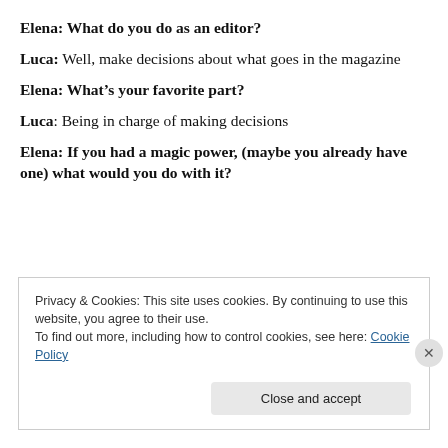Elena: What do you do as an editor?
Luca: Well, make decisions about what goes in the magazine
Elena: What’s your favorite part?
Luca: Being in charge of making decisions
Elena: If you had a magic power, (maybe you already have one) what would you do with it?
Privacy & Cookies: This site uses cookies. By continuing to use this website, you agree to their use.
To find out more, including how to control cookies, see here: Cookie Policy